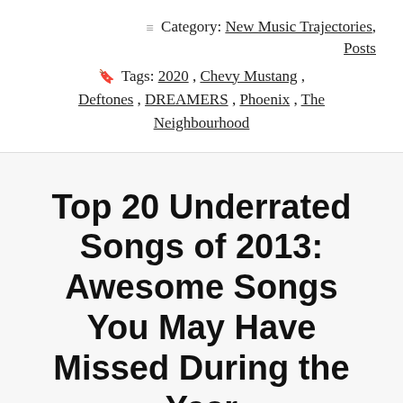≡ Category: New Music Trajectories, Posts
🏷 Tags: 2020, Chevy Mustang, Deftones, DREAMERS, Phoenix, The Neighbourhood
Top 20 Underrated Songs of 2013: Awesome Songs You May Have Missed During the Year
Welcome to the New Music...